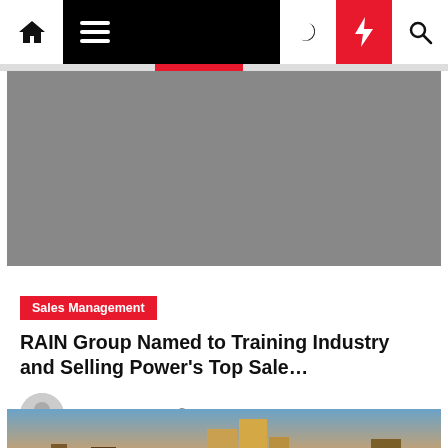Navigation bar with home, menu, moon, lightning, and search icons
[Figure (photo): Gray placeholder hero image at top of article]
Sales Management
RAIN Group Named to Training Industry and Selling Power's Top Sale…
Cecilia Nysing  1 year ago
[Figure (photo): City skyline photo at sunset showing tall buildings]